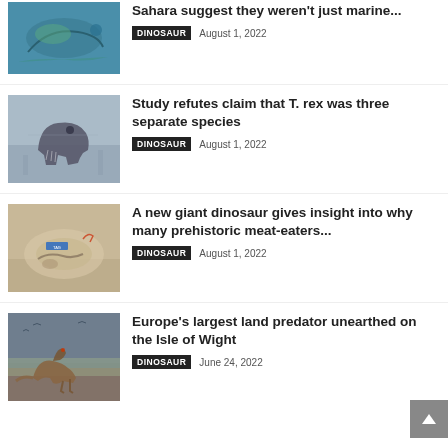[Figure (photo): Marine creature underwater, teal/green tones]
Sahara suggest they weren't just marine...
DINOSAUR   August 1, 2022
[Figure (photo): T. rex skeleton fossil display]
Study refutes claim that T. rex was three separate species
DINOSAUR   August 1, 2022
[Figure (photo): Fossil in rock matrix with measurement tag]
A new giant dinosaur gives insight into why many prehistoric meat-eaters...
DINOSAUR   August 1, 2022
[Figure (photo): Illustrated dinosaur on coastal landscape]
Europe's largest land predator unearthed on the Isle of Wight
DINOSAUR   June 24, 2022